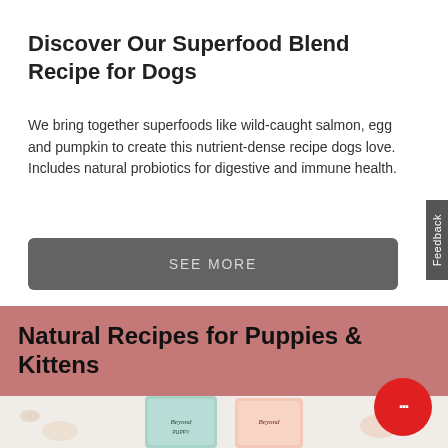Discover Our Superfood Blend Recipe for Dogs
We bring together superfoods like wild-caught salmon, egg and pumpkin to create this nutrient-dense recipe dogs love. Includes natural probiotics for digestive and immune health.
SEE MORE
Natural Recipes for Puppies & Kittens
[Figure (photo): Two Beyond brand pet food packages shown from the bottom portion, on a light background with decorative floral/nature motifs]